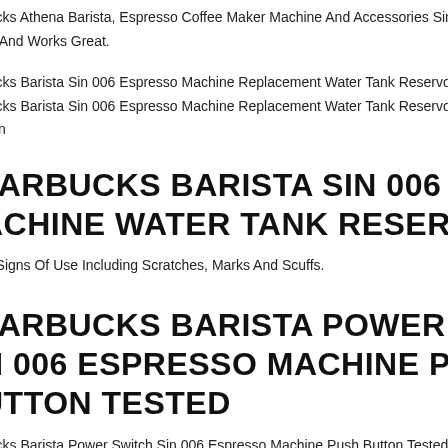bucks Athena Barista, Espresso Coffee Maker Machine And Accessories Sin017
ed And Works Great.
bucks Barista Sin 006 Espresso Machine Replacement Water Tank Reservoir.
bucks Barista Sin 006 Espresso Machine Replacement Water Tank Reservoir. Go
ition
TARBUCKS BARISTA SIN 006 ESPRESSO MACHINE WATER TANK RESERVOIR
rs Signs Of Use Including Scratches, Marks And Scuffs.
TARBUCKS BARISTA POWER SWITCH SIN 006 ESPRESSO MACHINE PUSH BUTTON TESTED
bucks Barista Power Switch Sin 006 Espresso Machine Push Button Tested.
bucks Barista Sin006 Drip Tray Assembly 4 Piece .
STARBUCKS BARISTA SIN 006 TART...